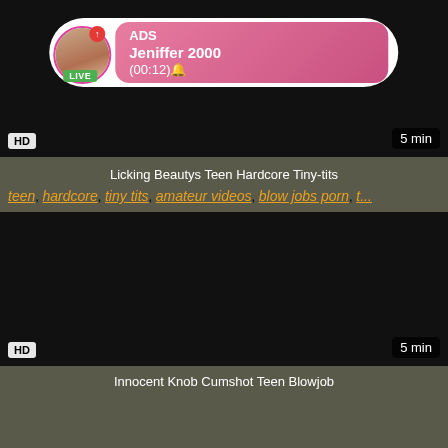[Figure (screenshot): Video thumbnail (black) with HD badge, 5 min duration, and an ad overlay showing Jeniffer 2000 LIVE profile with (00:12) timer]
Licking Beautys Teen Hardcore Tiny-tits
teen, hardcore, tiny tits, amateur videos, blow jobs porn, t...
[Figure (screenshot): Second black video thumbnail with HD badge and 5 min duration label]
Innocent Knob Cumshot Teen Blowjob